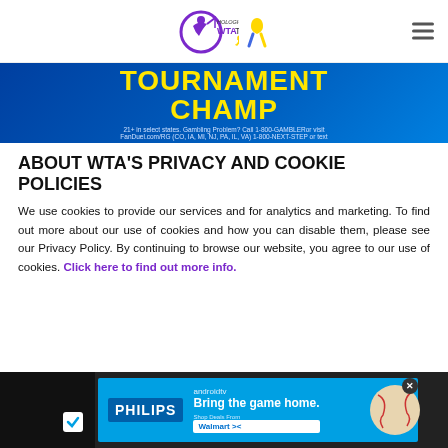Hologic WTA Tour
[Figure (photo): Advertisement banner with 'TOURNAMENT CHAMP' in yellow text on blue background, with gambling disclaimer text at bottom]
ABOUT WTA'S PRIVACY AND COOKIE POLICIES
We use cookies to provide our services and for analytics and marketing. To find out more about our use of cookies and how you can disable them, please see our Privacy Policy. By continuing to browse our website, you agree to our use of cookies. Click here to find out more info.
[Figure (photo): Philips Android TV advertisement: 'Bring the game home.' with baseball and Walmart branding on blue background]